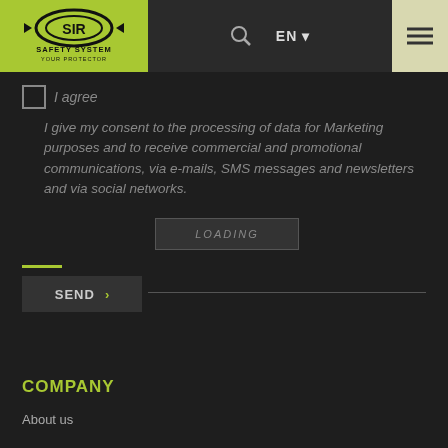[Figure (logo): SIR Safety System logo with tagline 'YOUR PROTECTOR' on lime green background]
I agree
I give my consent to the processing of data for Marketing purposes and to receive commercial and promotional communications, via e-mails, SMS messages and newsletters and via social networks.
LOADING
SEND ›
COMPANY
About us